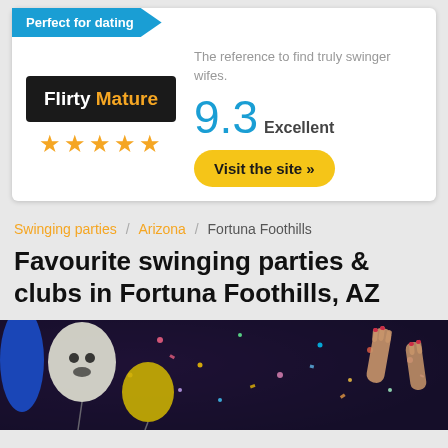[Figure (infographic): Advertisement card for Flirty Mature dating site. Contains a blue ribbon badge saying 'Perfect for dating', a logo with 'Flirty Mature' in black box with 5 gold stars, text 'The reference to find truly swinger wifes.', score '9.3 Excellent', and a yellow 'Visit the site »' button.]
Swinging parties / Arizona / Fortuna Foothills
Favourite swinging parties & clubs in Fortuna Foothills, AZ
[Figure (photo): Party scene photo showing people with balloons, confetti, hands raised, in a dark festive setting.]